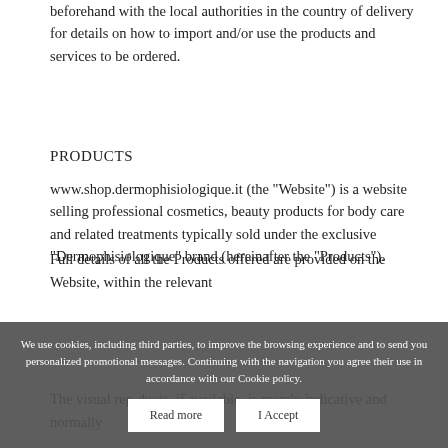beforehand with the local authorities in the country of delivery for details on how to import and/or use the products and services to be ordered.
PRODUCTS
www.shop.dermophisiologique.it (the "Website") is a website selling professional cosmetics, beauty products for body care and related treatments typically sold under the exclusive "Dermophisiologique" brand (hereinafter the "Products").
Full details of all the Products offered are provided on the Website, within the relevant
We use cookies, including third parties, to improve the browsing experience and to send you personalized promotional messages. Continuing with the navigation you agree their use in accordance with our Cookie policy.
The visual rep ducts, if available, is merely indicative and normally